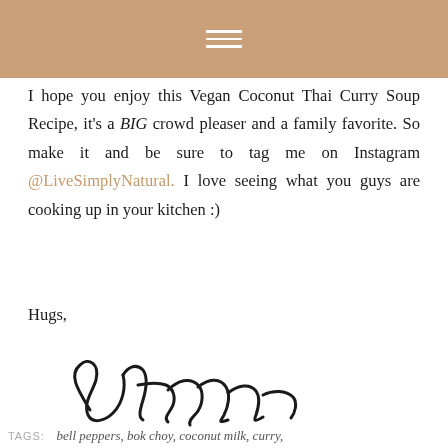I hope you enjoy this Vegan Coconut Thai Curry Soup Recipe, it's a BIG crowd pleaser and a family favorite. So make it and be sure to tag me on Instagram @LiveSimplyNatural. I love seeing what you guys are cooking up in your kitchen :)
Hugs,
[Figure (illustration): Handwritten signature reading 'DaraCai' or similar cursive signature]
TAGS: bell peppers, bok choy, coconut milk, curry,